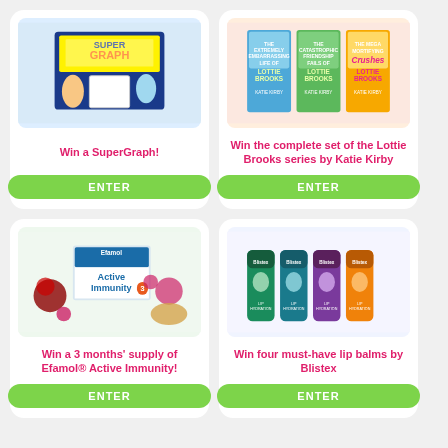[Figure (photo): SuperGraph product box showing kids using the drawing/tracing game]
Win a SuperGraph!
ENTER
[Figure (photo): Three books from the Lottie Brooks series by Katie Kirby displayed side by side]
Win the complete set of the Lottie Brooks series by Katie Kirby
ENTER
[Figure (photo): Efamol Active Immunity supplement box surrounded by fruits and nuts]
Win a 3 months' supply of Efamol® Active Immunity!
ENTER
[Figure (photo): Four Blistex lip balm sticks in different colors: green, teal, purple, and orange]
Win four must-have lip balms by Blistex
ENTER